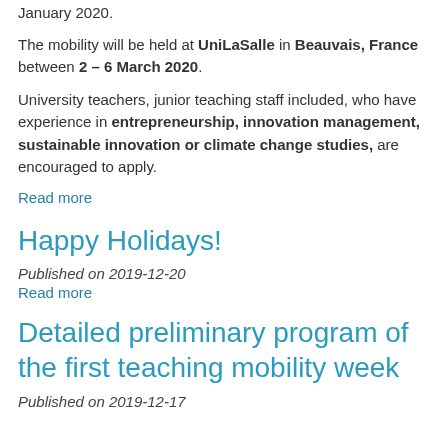January 2020.
The mobility will be held at UniLaSalle in Beauvais, France between 2 – 6 March 2020.
University teachers, junior teaching staff included, who have experience in entrepreneurship, innovation management, sustainable innovation or climate change studies, are encouraged to apply.
Read more
Happy Holidays!
Published on 2019-12-20
Read more
Detailed preliminary program of the first teaching mobility week
Published on 2019-12-17